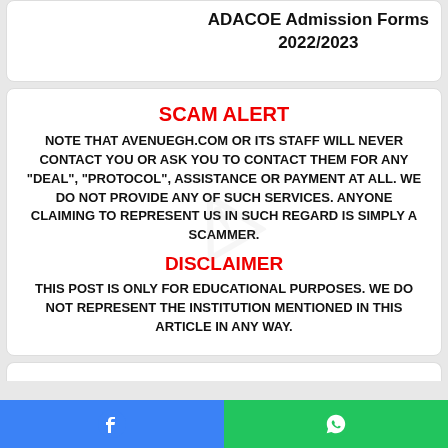ADACOE Admission Forms 2022/2023
SCAM ALERT
NOTE THAT AVENUEGH.COM OR ITS STAFF WILL NEVER CONTACT YOU OR ASK YOU TO CONTACT THEM FOR ANY "DEAL", "PROTOCOL", ASSISTANCE OR PAYMENT AT ALL. WE DO NOT PROVIDE ANY OF SUCH SERVICES. ANYONE CLAIMING TO REPRESENT US IN SUCH REGARD IS SIMPLY A SCAMMER.
DISCLAIMER
THIS POST IS ONLY FOR EDUCATIONAL PURPOSES. WE DO NOT REPRESENT THE INSTITUTION MENTIONED IN THIS ARTICLE IN ANY WAY.